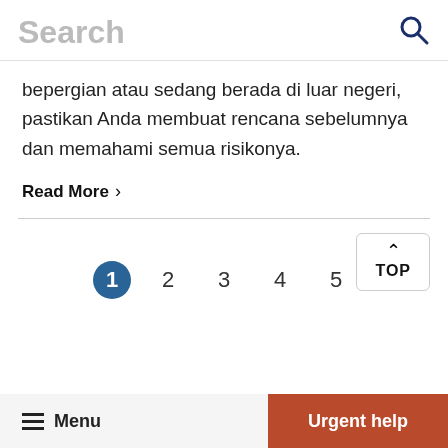Search
bepergian atau sedang berada di luar negeri, pastikan Anda membuat rencana sebelumnya dan memahami semua risikonya.
Read More ›
1  2  3  4  5  TOP
Menu  Urgent help